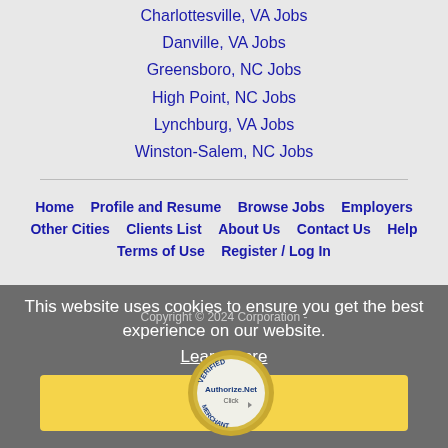Charlottesville, VA Jobs
Danville, VA Jobs
Greensboro, NC Jobs
High Point, NC Jobs
Lynchburg, VA Jobs
Winston-Salem, NC Jobs
Home | Profile and Resume | Browse Jobs | Employers | Other Cities | Clients List | About Us | Contact Us | Help | Terms of Use | Register / Log In
This website uses cookies to ensure you get the best experience on our website. Learn more
Got it!
[Figure (logo): Authorize.Net Verified Merchant seal]